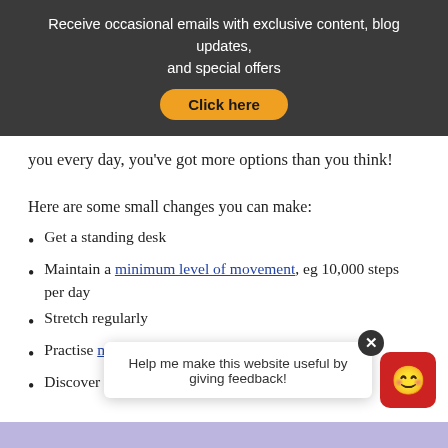Receive occasional emails with exclusive content, blog updates, and special offers
Click here
you every day, you've got more options than you think!
Here are some small changes you can make:
Get a standing desk
Maintain a minimum level of movement, eg 10,000 steps per day
Stretch regularly
Practise mindfulness or meditation
Discover which … ent love to do